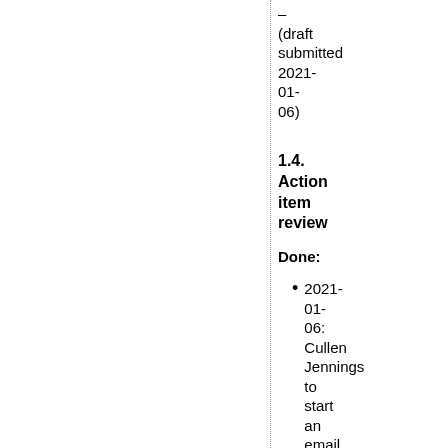– (draft submitted 2021-01-06)
1.4. Action item review
Done:
2021-01-06: Cullen Jennings to start an email thread with